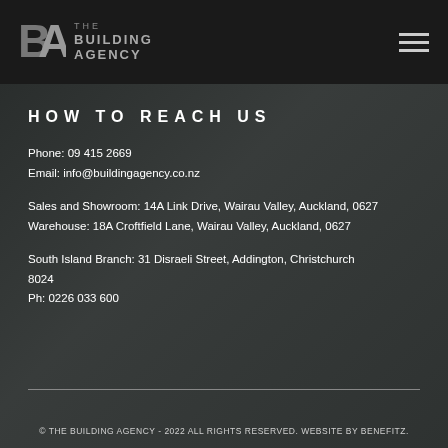THE BUILDING AGENCY
HOW TO REACH US
Phone: 09 415 2669
Email: info@buildingagency.co.nz
Sales and Showroom: 14A Link Drive, Wairau Valley, Auckland, 0627
Warehouse: 18A Croftfield Lane, Wairau Valley, Auckland, 0627
South Island Branch: 31 Disraeli Street, Addington, Christchurch 8024
Ph: 0226 033 600
© THE BUILDING AGENCY - 2022 ALL RIGHTS RESERVED. WEBSITE BY BENEFITZ.